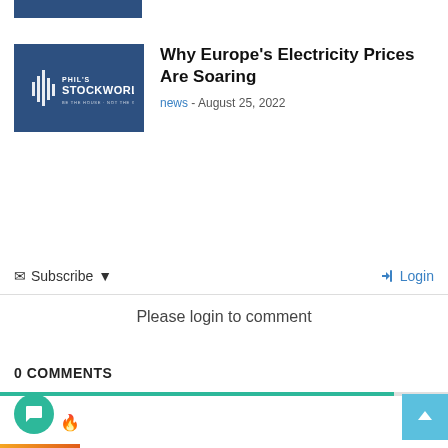[Figure (logo): Phil's StockWorld logo on dark blue background]
Why Europe's Electricity Prices Are Soaring
news - August 25, 2022
Subscribe
Login
Please login to comment
0 COMMENTS